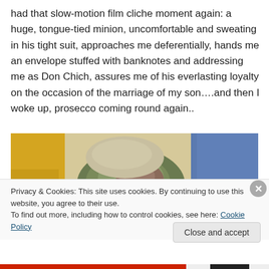had that slow-motion film cliche moment again: a huge, tongue-tied minion, uncomfortable and sweating in his tight suit, approaches me deferentially, hands me an envelope stuffed with banknotes and addressing me as Don Chich, assures me of his everlasting loyalty on the occasion of the marriage of my son….and then I woke up, prosecco coming round again..
[Figure (photo): Abstract painting with yellow, green, and blue color areas]
Privacy & Cookies: This site uses cookies. By continuing to use this website, you agree to their use.
To find out more, including how to control cookies, see here: Cookie Policy